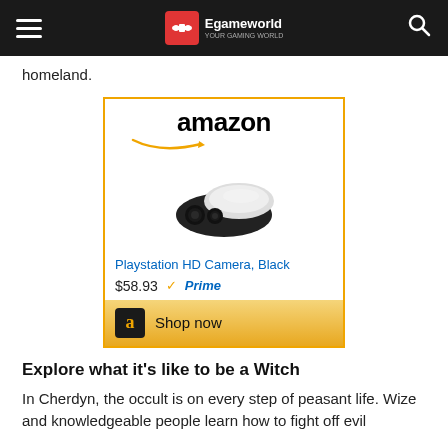Egameworld
homeland.
[Figure (screenshot): Amazon advertisement for Playstation HD Camera, Black at $58.93 with Prime, showing product image and Shop now button]
Explore what it's like to be a Witch
In Cherdyn, the occult is on every step of peasant life. Wize and knowledgeable people learn how to fight off evil